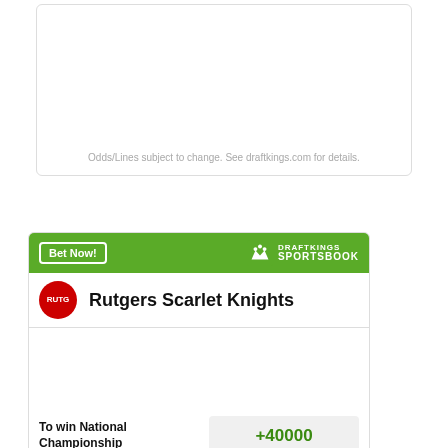Odds/Lines subject to change. See draftkings.com for details.
[Figure (infographic): DraftKings Sportsbook betting widget for Rutgers Scarlet Knights showing odds to win National Championship at +40000]
Odds/Lines subject to change. See draftkings.com for details.